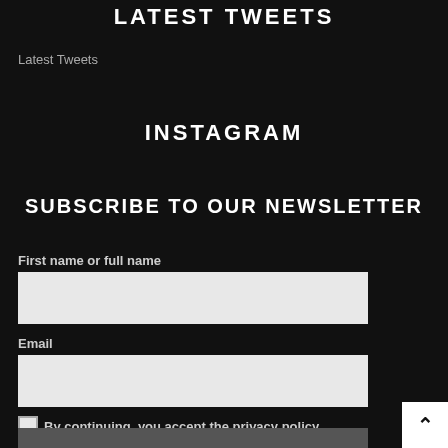LATEST TWEETS
Latest Tweets
INSTAGRAM
SUBSCRIBE TO OUR NEWSLETTER
First name or full name
Email
By continuing, you accept the privacy policy